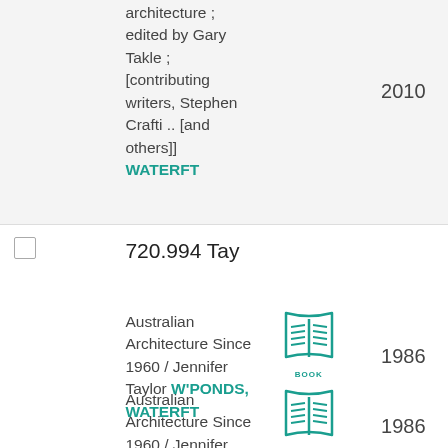architecture ; edited by Gary Takle ; [contributing writers, Stephen Crafti .. [and others]] WATERFT 2010
720.994 Tay
Australian Architecture Since 1960 / Jennifer Taylor W'PONDS, WATERFT 1986
[Figure (illustration): Book icon with teal outline]
Australian Architecture Since 1960 / Jennifer Taylor W'PONDS, 1986
[Figure (illustration): Book icon with teal outline]